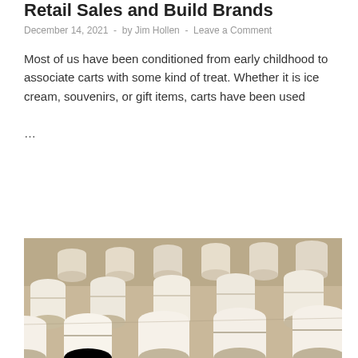Retail Sales and Build Brands
December 14, 2021  -  by Jim Hollen  -  Leave a Comment
Most of us have been conditioned from early childhood to associate carts with some kind of treat. Whether it is ice cream, souvenirs, or gift items, carts have been used ...
READ MORE
[Figure (photo): Rows of white cylindrical display stands or holders arranged on a wooden surface, photographed from an angle showing depth and perspective.]